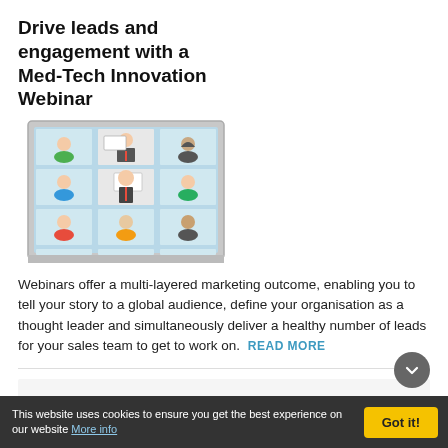Drive leads and engagement with a Med-Tech Innovation Webinar
[Figure (illustration): Illustration of a video conference/webinar with multiple participants shown in grid view on a laptop or monitor screen]
Webinars offer a multi-layered marketing outcome, enabling you to tell your story to a global audience, define your organisation as a thought leader and simultaneously deliver a healthy number of leads for your sales team to get to work on. READ MORE
EVENTS NEWS
BIOMEDevice Boston announces list of
This website uses cookies to ensure you get the best experience on our website More info